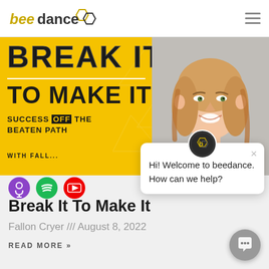beedance
[Figure (illustration): Break It To Make It podcast banner with yellow background, bold distressed text 'BREAK IT TO MAKE IT - Success Off The Beaten Path with Fallon', and a smiling blonde woman on the right side]
[Figure (illustration): Social media icons row: podcast (purple), Spotify (green), YouTube (red)]
Break It To Make It
Fallon Cryer /// August 8, 2022
READ MORE »
Hi! Welcome to beedance. How can we help?